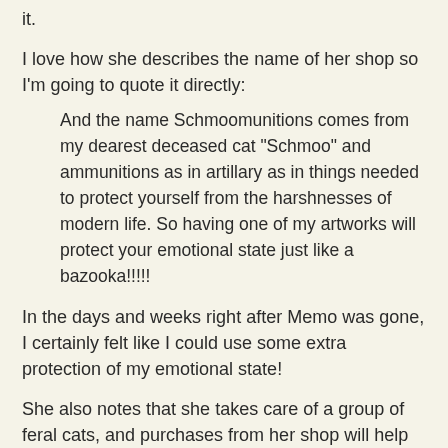it.
I love how she describes the name of her shop so I'm going to quote it directly:
And the name Schmoomunitions comes from my dearest deceased cat "Schmoo" and ammunitions as in artillary as in things needed to protect yourself from the harshnesses of modern life. So having one of my artworks will protect your emotional state just like a bazooka!!!!!
In the days and weeks right after Memo was gone, I certainly felt like I could use some extra protection of my emotional state!
She also notes that she takes care of a group of feral cats, and purchases from her shop will help with their care.
I wish I'd taken a photo of the backs of some of the postcards, too - some of them are different, but they're all